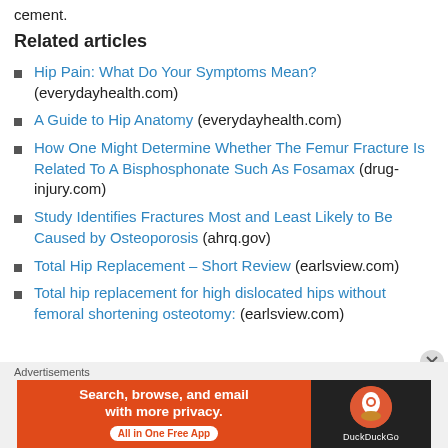cement.
Related articles
Hip Pain: What Do Your Symptoms Mean? (everydayhealth.com)
A Guide to Hip Anatomy (everydayhealth.com)
How One Might Determine Whether The Femur Fracture Is Related To A Bisphosphonate Such As Fosamax (drug-injury.com)
Study Identifies Fractures Most and Least Likely to Be Caused by Osteoporosis (ahrq.gov)
Total Hip Replacement – Short Review (earlsview.com)
Total hip replacement for high dislocated hips without femoral shortening osteotomy: (earlsview.com)
Advertisements